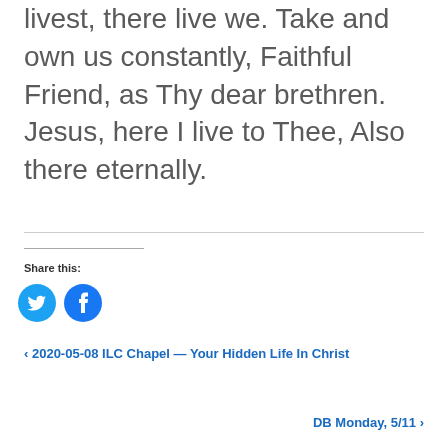livest, there live we. Take and own us constantly, Faithful Friend, as Thy dear brethren. Jesus, here I live to Thee, Also there eternally.
Share this:
[Figure (other): Twitter and Facebook social share icons (blue circular buttons)]
‹ 2020-05-08 ILC Chapel — Your Hidden Life In Christ
DB Monday, 5/11 ›